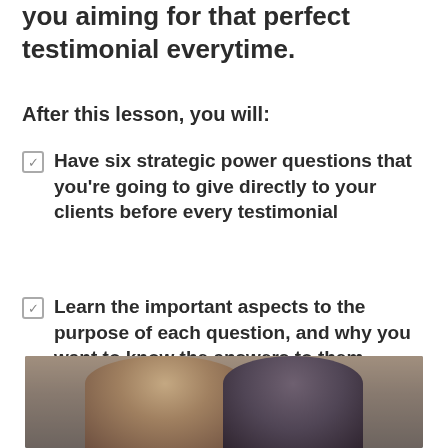you aiming for that perfect testimonial everytime.
After this lesson, you will:
Have six strategic power questions that you're going to give directly to your clients before every testimonial
Learn the important aspects to the purpose of each question, and why you want to know the answers to them.
[Figure (photo): Two people visible from shoulders up, photo partially cropped at bottom of page]